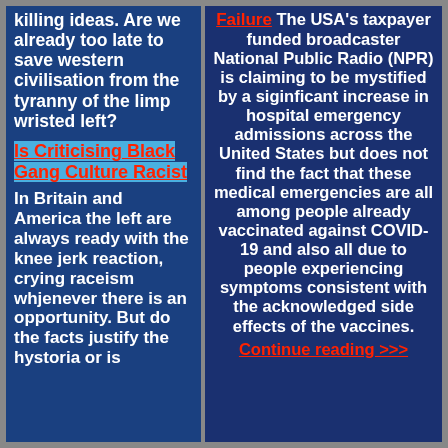killing ideas. Are we already too late to save western civilisation from the tyranny of the limp wristed left?
Is Criticising Black Gang Culture Racist
In Britain and America the left are always ready with the knee jerk reaction, crying raceism whjenever there is an opportunity. But do the facts justify the hystoria or is
Failure The USA's taxpayer funded broadcaster National Public Radio (NPR) is claiming to be mystified by a siginficant increase in hospital emergency admissions across the United States but does not find the fact that these medical emergencies are all among people already vaccinated against COVID-19 and also all due to people experiencing symptoms consistent with the acknowledged side effects of the vaccines.
Continue reading >>>